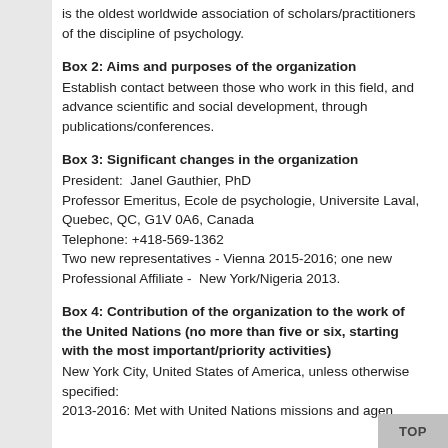is the oldest worldwide association of scholars/practitioners of the discipline of psychology.
Box 2: Aims and purposes of the organization
Establish contact between those who work in this field, and advance scientific and social development, through publications/conferences.
Box 3: Significant changes in the organization
President:  Janel Gauthier, PhD
Professor Emeritus, Ecole de psychologie, Universite Laval, Quebec, QC, G1V 0A6, Canada
Telephone: +418-569-1362
Two new representatives - Vienna 2015-2016; one new Professional Affiliate -  New York/Nigeria 2013.
Box 4: Contribution of the organization to the work of the United Nations (no more than five or six, starting with the most important/priority activities)
New York City, United States of America, unless otherwise specified:
2013-2016: Met with United Nations missions and agen…